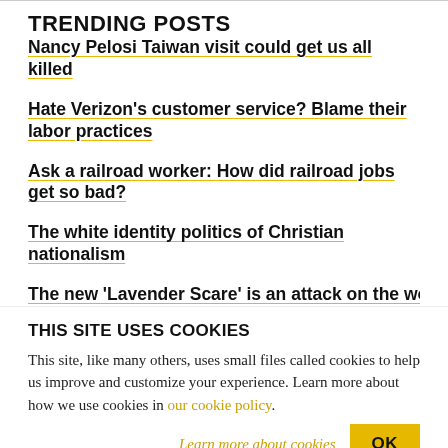TRENDING POSTS
Nancy Pelosi Taiwan visit could get us all killed
Hate Verizon's customer service? Blame their labor practices
Ask a railroad worker: How did railroad jobs get so bad?
The white identity politics of Christian nationalism
The new 'Lavender Scare' is an attack on the working
THIS SITE USES COOKIES
This site, like many others, uses small files called cookies to help us improve and customize your experience. Learn more about how we use cookies in our cookie policy.
Learn more about cookies   OK